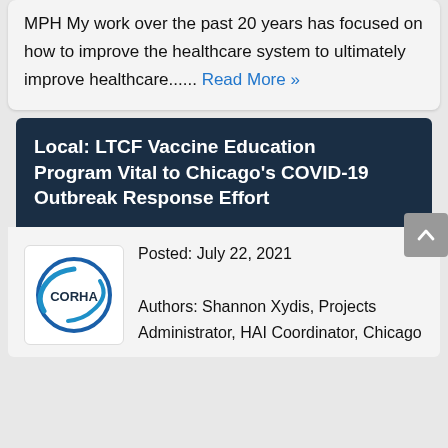MPH My work over the past 20 years has focused on how to improve the healthcare system to ultimately improve healthcare...... Read More »
Local: LTCF Vaccine Education Program Vital to Chicago's COVID-19 Outbreak Response Effort
[Figure (logo): CORHA logo — circular design with blue swoosh around text 'CORHA']
Posted: July 22, 2021
Authors: Shannon Xydis, Projects Administrator, HAI Coordinator, Chicago